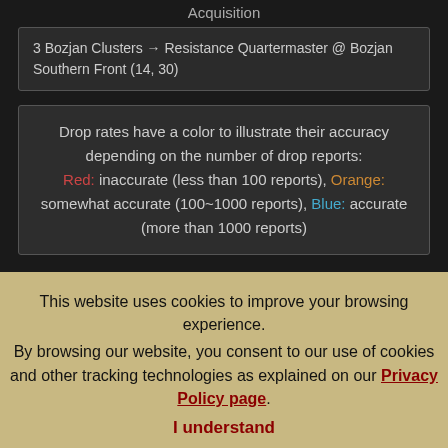Acquisition
3 Bozjan Clusters → Resistance Quartermaster @ Bozjan Southern Front (14, 30)
Drop rates have a color to illustrate their accuracy depending on the number of drop reports: Red: inaccurate (less than 100 reports), Orange: somewhat accurate (100~1000 reports), Blue: accurate (more than 1000 reports)
This website uses cookies to improve your browsing experience. By browsing our website, you consent to our use of cookies and other tracking technologies as explained on our Privacy Policy page. I understand